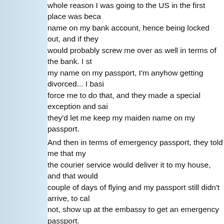whole reason I was going to the US in the first place was beca... name on my bank account, hence being locked out, and if they would probably screw me over as well in terms of the bank. I st... my name on my passport, I'm anyhow getting divorced... I basi... force me to do that, and they made a special exception and sai... they'd let me keep my maiden name on my passport. And then in terms of emergency passport, they told me that my... the courier service would deliver it to my house, and that would... couple of days of flying and my passport still didn't arrive, to cal... not, show up at the embassy to get an emergency passport.
Ok, flying out Wednesday. Friday I call up the courier service a... again, still nothing. I sent the embassy an email to make an app... a response that they are closed until Monday and they'll get ba... work, because I have to leave early Wednesday morning, and I... passport the next d day, so I really needed to go to the embass... am on Monday, so left the house at 6 am to arrive there right as... and I was prepared to wait... but there was terrible traffic and th... on buses, so once I got to the city I took a taxi there, got there a... I got in line and when my turn came, they asked me if I had an a... case and told them how soon I was flying, and I didn't have time... embassy worker told me to do... and the guy wouldn't let me in.... and sometime after 12 someone will call me to let me know wha... guarantee of anything, they didn't even tell me what would happ... emergency passport, nothing! I was begging him to plea...